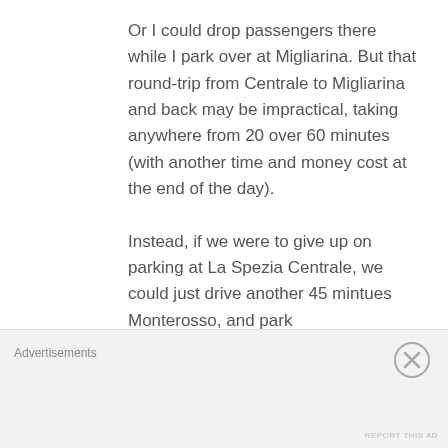Or I could drop passengers there while I park over at Migliarina. But that round-trip from Centrale to Migliarina and back may be impractical, taking anywhere from 20 over 60 minutes (with another time and money cost at the end of the day).

Instead, if we were to give up on parking at La Spezia Centrale, we could just drive another 45 mintues Monterosso, and park
Advertisements